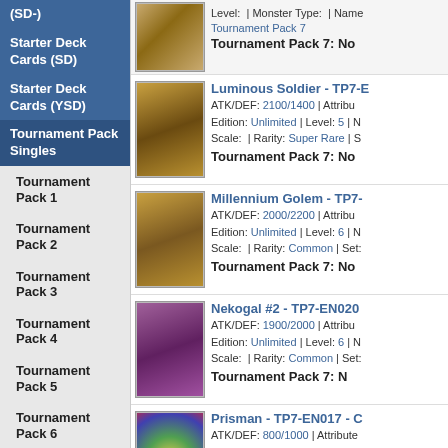(SD-)
Starter Deck Cards (SD)
Starter Deck Cards (YSD)
Tournament Pack Singles
Tournament Pack 1
Tournament Pack 2
Tournament Pack 3
Tournament Pack 4
Tournament Pack 5
Tournament Pack 6
Tournament Pack 7
Tournament Pack 8
Champion Pack Singles
Retro Pack Singles
Turbo Pack Singles
Tournament Pack 7 card listing
Luminous Soldier - TP7-E... ATK/DEF: 2100/1400 | Attribute: ... Edition: Unlimited | Level: 5 | ... Scale: | Rarity: Super Rare | S... Tournament Pack 7: No
Millennium Golem - TP7-... ATK/DEF: 2000/2200 | Attribute: ... Edition: Unlimited | Level: 6 | ... Scale: | Rarity: Common | Set:... Tournament Pack 7: No
Nekogal #2 - TP7-EN020 ATK/DEF: 1900/2000 | Attribute: ... Edition: Unlimited | Level: 6 | ... Scale: | Rarity: Common | Set:... Tournament Pack 7: N...
Prisman - TP7-EN017 - ... ATK/DEF: 800/1000 | Attribute: ... Edition: Unlimited | Level: 3 | ... Rarity: Common | Set: Tourna... Tournament Pack 7: No
Scapegoat - TP7-EN009 ATK/DEF: | Attribute: Spell | C... Unlimited | Level: | Monster Ty... Set: Tournament Pack 7: ...